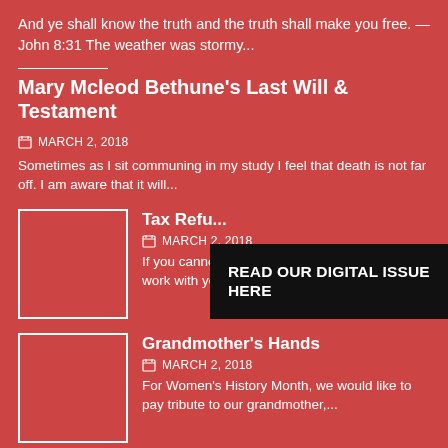And ye shall know the truth and the truth shall make you free. — John 8:31 The weather was stormy...
Mary Mcleod Bethune's Last Will & Testament
MARCH 2, 2018
Sometimes as I sit communing in my study I feel that death is not far off. I am aware that it will...
[Figure (photo): Thumbnail image placeholder for Tax Refund article]
Tax Refu...
MARCH 2, 2018
If you cannot pay your taxes in full, the IRS will work with you. Past due debt...
READ OUR DIGITAL ISSUE HERE
[Figure (photo): Thumbnail image placeholder for Grandmother's Hands article]
Grandmother's Hands
MARCH 2, 2018
For Women's History Month, we would like to pay tribute to our grandmother,...
[Figure (photo): Thumbnail image placeholder for Role Of Women article]
Role Of Women